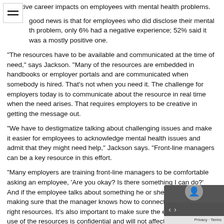negative career impacts on employees with mental health problems.
The good news is that for employees who did disclose their mental health problem, only 6% had a negative experience; 52% said it was a mostly positive one.
“The resources have to be available and communicated at the time of need,” says Jackson. “Many of the resources are embedded in handbooks or employer portals and are communicated when somebody is hired. That’s not when you need it. The challenge for employers today is to communicate about the resource in real time when the need arises. That requires employers to be creative in getting the message out.
“We have to destigmatize talking about challenging issues and make it easier for employees to acknowledge mental health issues and admit that they might need help,” Jackson says. “Front-line managers can be a key resource in this effort.
“Many employers are training front-line managers to be comfortable asking an employee, ‘Are you okay? Is there something I can do?’ And if the employee talks about something he or she needs h… making sure that the manager knows how to connect that em… to the right resources. It’s also important to make sure the em… known that use of the resources is confidential and will not affect…